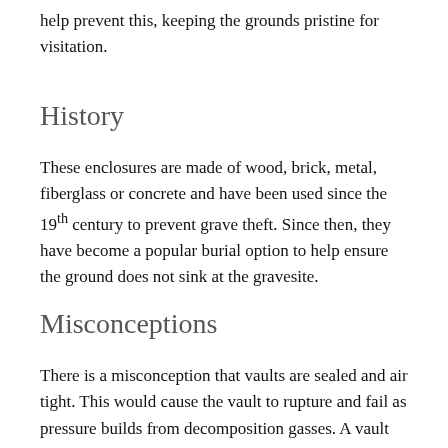help prevent this, keeping the grounds pristine for visitation.
History
These enclosures are made of wood, brick, metal, fiberglass or concrete and have been used since the 19th century to prevent grave theft. Since then, they have become a popular burial option to help ensure the ground does not sink at the gravesite.
Misconceptions
There is a misconception that vaults are sealed and air tight. This would cause the vault to rupture and fail as pressure builds from decomposition gasses. A vault does not seal the casket, but rather it acts as a strong